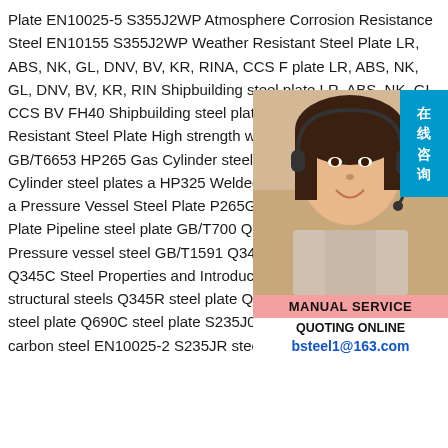Plate EN10025-5 S355J2WP Atmosphere Corrosion Resistance Steel EN10155 S355J2WP Weather Resistant Steel Plate LR, ABS, NK, GL, DNV, BV, KR, RINA, CCS F plate LR, ABS, NK, GL, DNV, BV, KR, RIN Shipbuilding steel plate LR, ABS, NK, GL, CCS BV FH40 Shipbuilding steel plate Ch Q355GNH Weather Resistant Steel Plate High strength weathering Steel Plate Gas GB/T6653 HP265 Gas Cylinder steel plate HP295 Welded Gas Cylinder steel plates a HP325 Welded Gas Cylinder steel plates a Pressure Vessel Steel Plate P265GH Stee plate P355GH Steel Plate Pipeline steel plate GB/T700 Q235B Steel Q245R Pressure vessel steel GB/T1591 Q345B low alloy structural steel Q345C Steel Properties and Introduction GB/T1591 Q345D structural steels Q345R steel plate Q390C steel plate Q390D steel plate Q690C steel plate S235J0 carbon steel S235J2 carbon steel EN10025-2 S235JR steel grade S275N Structural
[Figure (photo): Photo of a customer service representative (woman wearing headset) with overlaid service information including 在线咨询 (online consultation) badge, MANUAL SERVICE label, QUOTING ONLINE text, and email bsteel1@163.com]